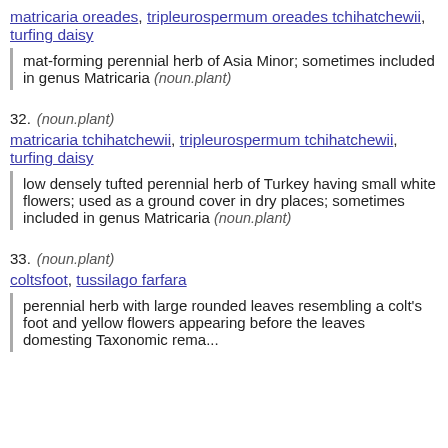matricaria oreades, tripleurospermum oreades tchihatchewii, turfing daisy
mat-forming perennial herb of Asia Minor; sometimes included in genus Matricaria (noun.plant)
32. (noun.plant) matricaria tchihatchewii, tripleurospermum tchihatchewii, turfing daisy
low densely tufted perennial herb of Turkey having small white flowers; used as a ground cover in dry places; sometimes included in genus Matricaria (noun.plant)
33. (noun.plant) coltsfoot, tussilago farfara
perennial herb with large rounded leaves resembling a colt's foot and yellow flowers appearing before the leaves
domesting Taxonomic rema...